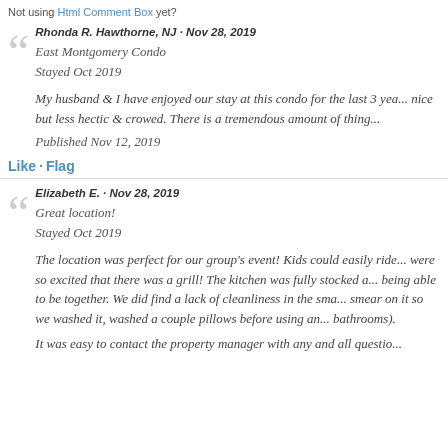Not using Html Comment Box yet?
Rhonda R. Hawthorne, NJ · Nov 28, 2019
East Montgomery Condo
Stayed Oct 2019

My husband & I have enjoyed our stay at this condo for the last 3 yea... nice but less hectic & crowed. There is a tremendous amount of thing...

Published Nov 12, 2019
Like · Flag
Elizabeth E. · Nov 28, 2019
Great location!
Stayed Oct 2019

The location was perfect for our group's event! Kids could easily ride... were so excited that there was a grill! The kitchen was fully stocked a... being able to be together. We did find a lack of cleanliness in the sma... smear on it so we washed it, washed a couple pillows before using an... bathrooms).

It was easy to contact the property manager with any and all questio...